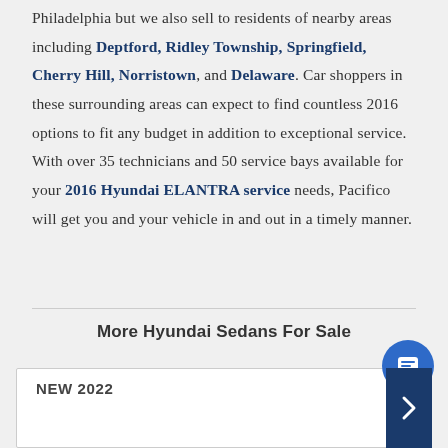Philadelphia but we also sell to residents of nearby areas including Deptford, Ridley Township, Springfield, Cherry Hill, Norristown, and Delaware. Car shoppers in these surrounding areas can expect to find countless 2016 options to fit any budget in addition to exceptional service. With over 35 technicians and 50 service bays available for your 2016 Hyundai ELANTRA service needs, Pacifico will get you and your vehicle in and out in a timely manner.
More Hyundai Sedans For Sale
NEW 2022